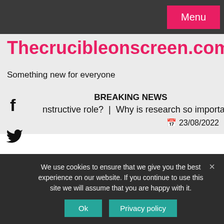Menu
Thecrucibleonscreen.com
Something new for everyone
BREAKING NEWS
nstructive role?  |  Why is research so important?  |  Did Achi
23/08/2022
We use cookies to ensure that we give you the best experience on our website. If you continue to use this site we will assume that you are happy with it.
Ok   Privacy policy